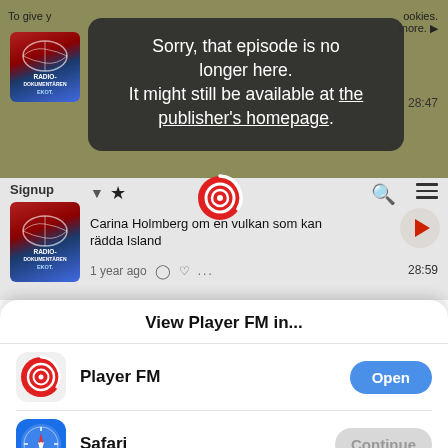[Figure (screenshot): Mobile app screenshot showing a podcast player interface (Radio Dokumentären/Ekot) with a dark tooltip overlay and a system browser picker sheet]
Sorry, that episode is no longer here. It might still be available at the publisher's homepage.
Carina Holmberg om en vulkan som kan rädda Island
1 year ago   28:59
View Player FM in...
Player FM
Safari